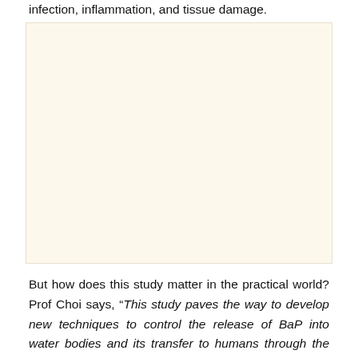infection, inflammation, and tissue damage.
[Figure (other): Blank cream/beige colored rectangular image placeholder]
But how does this study matter in the practical world? Prof Choi says, “This study paves the way to develop new techniques to control the release of BaP into water bodies and its transfer to humans through the food